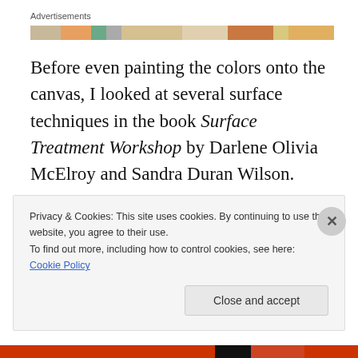Advertisements
[Figure (infographic): Horizontal advertisement banner with multi-colored segments]
Before even painting the colors onto the canvas, I looked at several surface techniques in the book Surface Treatment Workshop by Darlene Olivia McElroy and Sandra Duran Wilson.
I decided upon the plastic wrap resist technique. With this technique, you place a sheet of plastic wrap over the wet
Privacy & Cookies: This site uses cookies. By continuing to use this website, you agree to their use.
To find out more, including how to control cookies, see here: Cookie Policy
Close and accept